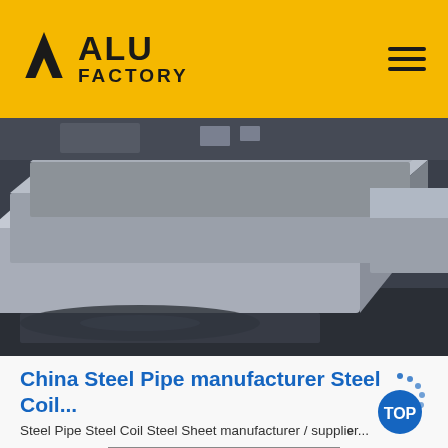ALU FACTORY
[Figure (photo): Stacked aluminum billets or slabs in an industrial factory/warehouse setting, metallic silver surface, dark floor with reflections]
China Steel Pipe manufacturer Steel Coil...
Steel Pipe Steel Coil Steel Sheet manufacturer / supplier...
Get Price